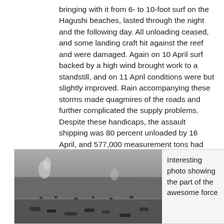bringing with it from 6- to 10-foot surf on the Hagushi beaches, lasted through the night and the following day. All unloading ceased, and some landing craft hit against the reef and were damaged. Again on 10 April surf backed by a high wind brought work to a standstill, and on 11 April conditions were but slightly improved. Rain accompanying these storms made quagmires of the roads and further complicated the supply problems. Despite these handicaps, the assault shipping was 80 percent unloaded by 16 April, and 577,000 measurement tons had crossed the Hagushi beaches, a larger amount than had been anticipated in the plans.
[Figure (photo): Black and white aerial or elevated photograph of Hagushi beaches showing landing craft, troops, and military activity on the beach and in the water, with smoke or explosions visible in the background.]
Interesting photo showing the part of the awesome force